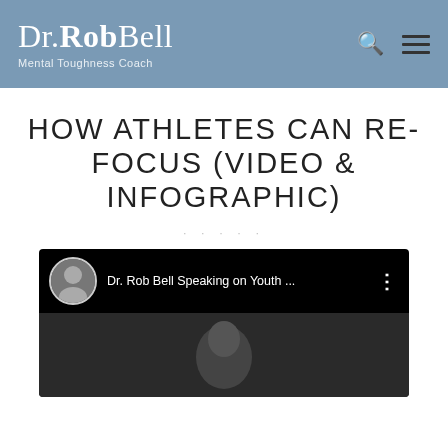Dr. Rob Bell — Mental Toughness Coach
HOW ATHLETES CAN RE-FOCUS (VIDEO & INFOGRAPHIC)
[Figure (screenshot): YouTube video thumbnail showing Dr. Rob Bell Speaking on Youth ... with a profile avatar and three-dot menu icon, with a dark video frame showing a person below]